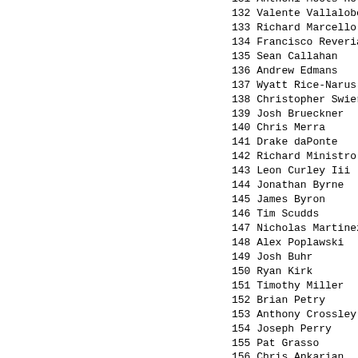131 Anthoni Moots-Hotaling
132 Valente Vallalobos III
133 Richard Marcello
134 Francisco Reveriano
135 Sean Callahan
136 Andrew Edmans
137 Wyatt Rice-Narus
138 Christopher Swierad
139 Josh Brueckner
140 Chris Merra
141 Drake daPonte
142 Richard Ministro
143 Leon Curley Iii
144 Jonathan Byrne
145 James Byron
146 Tim Scudds
147 Nicholas Martinez
148 Alex Poplawski
149 Josh Buhr
150 Ryan Kirk
151 Timothy Miller
152 Brian Petry
153 Anthony Crossley
154 Joseph Perry
155 Pat Grasso
156 Chris Apkarian
157 Keith Thomas
158 Jacob Heath
159 David Owens
160 Matthew DaSilva
161 Joel Flott
162 Michael Whisenand